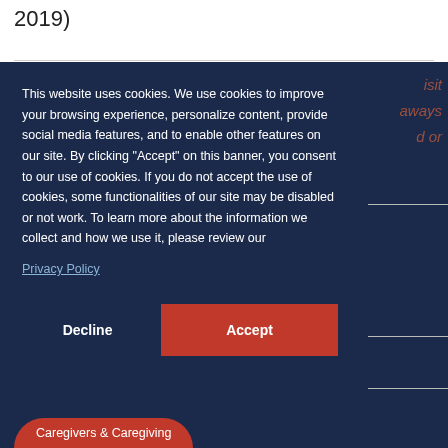2019)
isit
aways
d or
This website uses cookies. We use cookies to improve your browsing experience, personalize content, provide social media features, and to enable other features on our site. By clicking “Accept” on this banner, you consent to our use of cookies. If you do not accept the use of cookies, some functionalities of our site may be disabled or not work. To learn more about the information we collect and how we use it, please review our
Privacy Policy
Decline
Accept
Caregivers & Caregiving